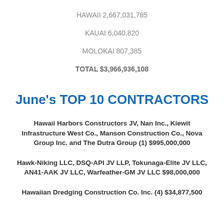HAWAII 2,667,031,785
KAUAI 6,040,820
MOLOKAI 807,385
TOTAL $3,966,936,108
June's TOP 10 CONTRACTORS
Hawaii Harbors Constructors JV, Nan Inc., Kiewit Infrastructure West Co., Manson Construction Co., Nova Group Inc. and The Dutra Group (1) $995,000,000
Hawk-Niking LLC, DSQ-API JV LLP, Tokunaga-Elite JV LLC, AN41-AAK JV LLC, Warfeather-GM JV LLC $98,000,000
Hawaiian Dredging Construction Co. Inc. (4) $34,877,500